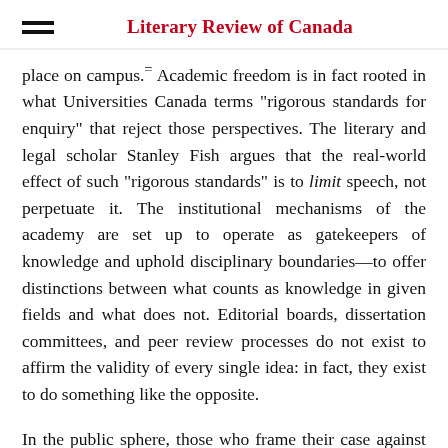Literary Review of Canada
place on campus.= Academic freedom is in fact rooted in what Universities Canada terms “rigorous standards for enquiry” that reject those perspectives. The literary and legal scholar Stanley Fish argues that the real-world effect of such “rigorous standards” is to limit speech, not perpetuate it. The institutional mechanisms of the academy are set up to operate as gatekeepers of knowledge and uphold disciplinary boundaries—to offer distinctions between what counts as knowledge in given fields and what does not. Editorial boards, dissertation committees, and peer review processes do not exist to affirm the validity of every single idea: in fact, they exist to do something like the opposite.
In the public sphere, those who frame their case against the university in free speech terms are